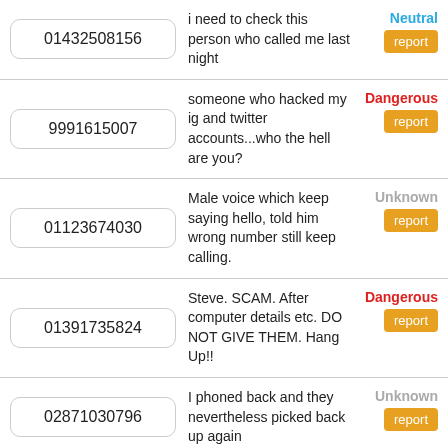| Phone Number | Comment | Status | Action |
| --- | --- | --- | --- |
| 01432508156 | i need to check this person who called me last night | Neutral | report |
| 9991615007 | someone who hacked my ig and twitter accounts...who the hell are you? | Dangerous | report |
| 01123674030 | Male voice which keep saying hello, told him wrong number still keep calling. | Unknown | report |
| 01391735824 | Steve. SCAM. After computer details etc. DO NOT GIVE THEM. Hang Up!! | Dangerous | report |
| 02871030796 | I phoned back and they nevertheless picked back up again | Unknown | report |